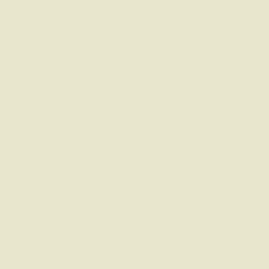and Ormus Minera...
Learn more in this 6 page PDF... health. https://www.magnesiu...
[Figure (photo): Blue rectangle placeholder image (broken image icon visible top-left) next to text 'Neveu ch...' in dark blue bold]
A french doctor, A. Neveu, cure... with magnesium chloride within ... cases of poliomyelitis that were ... was started immediately, or with... already progressed
| abscesses | hoa... |
| --- | --- |
| asthma | infecte... |
| boils | inf... |
| bronchitis | m... |
| common cold | m... |
| emphysema | oste... |
| gastro-enteritis | ph... |